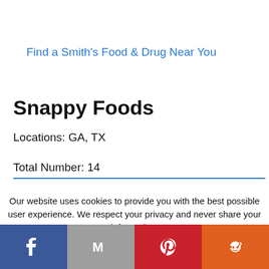Find a Smith's Food & Drug Near You
Snappy Foods
Locations: GA, TX
Total Number: 14
Our website uses cookies to provide you with the best possible user experience. We respect your privacy and never share your information.
Learn More  Accept
[Figure (other): Social sharing bar with Facebook, Gmail, Pinterest, and Reddit icons]